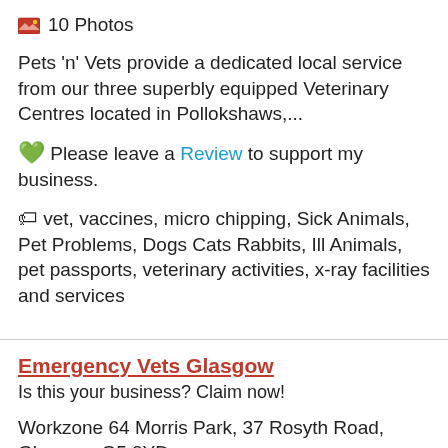10 Photos
Pets 'n' Vets provide a dedicated local service from our three superbly equipped Veterinary Centres located in Pollokshaws,...
💚 Please leave a Review to support my business.
🏷 vet, vaccines, micro chipping, Sick Animals, Pet Problems, Dogs Cats Rabbits, Ill Animals, pet passports, veterinary activities, x-ray facilities and services
Emergency Vets Glasgow
Is this your business? Claim now!
Workzone 64 Morris Park, 37 Rosyth Road, Glasgow, G5 0YD